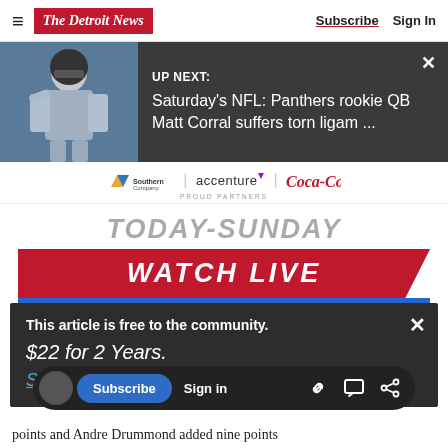The Detroit News | Subscribe | Sign In
[Figure (screenshot): UP NEXT banner with NFL player image and text: Saturday's NFL: Panthers rookie QB Matt Corral suffers torn ligam ...]
[Figure (logo): Southern Company | accenture | Coca-Cola logos with PROUD PARTNERS text]
[Figure (infographic): TODAY-SUNDAY / WATCH LIVE advertisement banner in red and gray]
This article is free to the community.
$22 for 2 Years.
Subscribe now
points and Andre Drummond added nine points